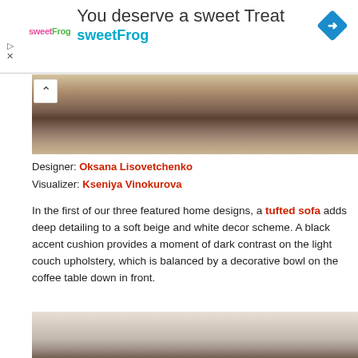[Figure (infographic): SweetFrog advertisement banner with logo, title 'You deserve a sweet Treat', subtitle 'sweetFrog', and a blue diamond navigation icon on the right.]
[Figure (photo): Interior design photo showing a living room with a rug, coffee table, and sofa against a beige background.]
Designer: Oksana Lisovetchenko
Visualizer: Kseniya Vinokurova
In the first of our three featured home designs, a tufted sofa adds deep detailing to a soft beige and white decor scheme. A black accent cushion provides a moment of dark contrast on the light couch upholstery, which is balanced by a decorative bowl on the coffee table down in front.
[Figure (photo): Interior design photo showing a bedroom or living space with light beige walls and curtains.]